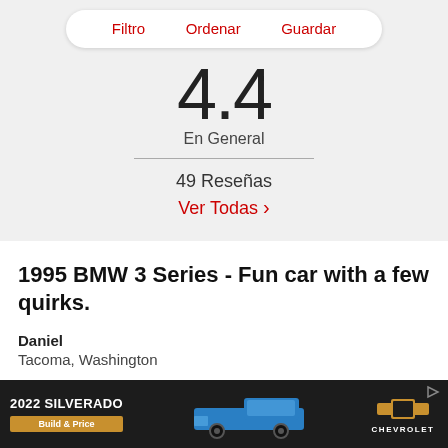Filtro   Ordenar   Guardar
4.4
En General
49 Reseñas
Ver Todas >
1995 BMW 3 Series - Fun car with a few quirks.
Daniel
Tacoma, Washington
[Figure (other): Advertisement banner for 2022 Silverado with Chevrolet logo and Build & Price button]